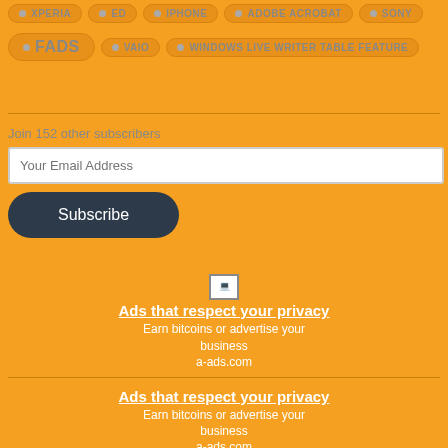XPERIA
ED
IPHONE
ADOBE ACROBAT
SONY
FADS
VAIO
WINDOWS LIVE WRITER TABLE FEATURE
Join 152 other subscribers
Your Email Address
Subscribe
Ads that respect your privacy
Earn bitcoins or advertise your business
a-ads.com
Ads that respect your privacy
Earn bitcoins or advertise your business
a-ads.com